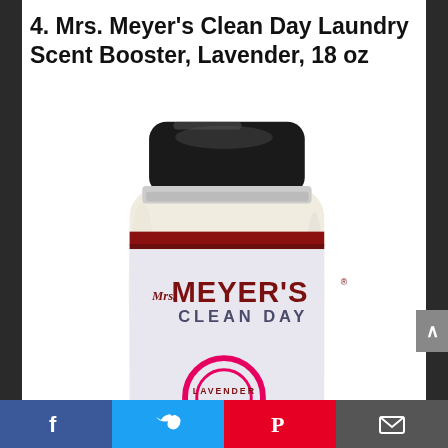4. Mrs. Meyer's Clean Day Laundry Scent Booster, Lavender, 18 oz
[Figure (photo): Mrs. Meyer's Clean Day Laundry Scent Booster bottle in Lavender scent, 18 oz. The bottle is cream/white colored with a black lid, featuring a dark red band near the top of the label, the brand name 'Mrs. MEYER'S CLEAN DAY' in dark red/maroon letters, and a partial lavender circular logo at the bottom.]
Facebook | Twitter | Pinterest | Email social share buttons